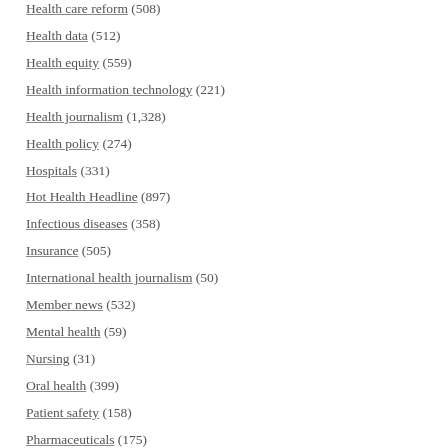Health care reform (508)
Health data (512)
Health equity (559)
Health information technology (221)
Health journalism (1,328)
Health policy (274)
Hospitals (331)
Hot Health Headline (897)
Infectious diseases (358)
Insurance (505)
International health journalism (50)
Member news (532)
Mental health (59)
Nursing (31)
Oral health (399)
Patient safety (158)
Pharmaceuticals (175)
Public health (383)